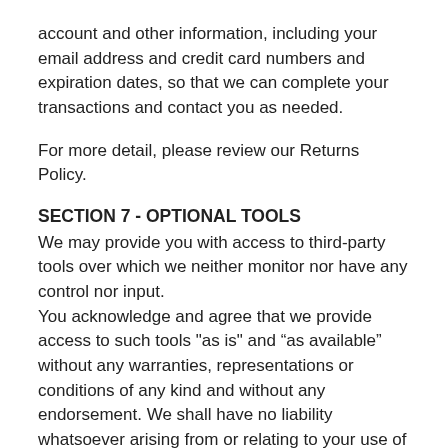account and other information, including your email address and credit card numbers and expiration dates, so that we can complete your transactions and contact you as needed.
For more detail, please review our Returns Policy.
SECTION 7 - OPTIONAL TOOLS
We may provide you with access to third-party tools over which we neither monitor nor have any control nor input.
You acknowledge and agree that we provide access to such tools "as is" and “as available” without any warranties, representations or conditions of any kind and without any endorsement. We shall have no liability whatsoever arising from or relating to your use of optional third-party tools.
Any use by you of optional tools offered through the site is entirely at your own risk and discretion and you should ensure that you are familiar with and approve of the